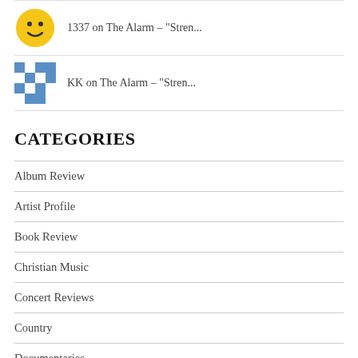[Figure (illustration): Yellow smiley face emoji avatar (partially visible at top)]
1337 on The Alarm – "Stren..."
[Figure (illustration): Blue and white pixel/QR-code style avatar icon]
KK on The Alarm – "Stren..."
CATEGORIES
Album Review
Artist Profile
Book Review
Christian Music
Concert Reviews
Country
Documentaries